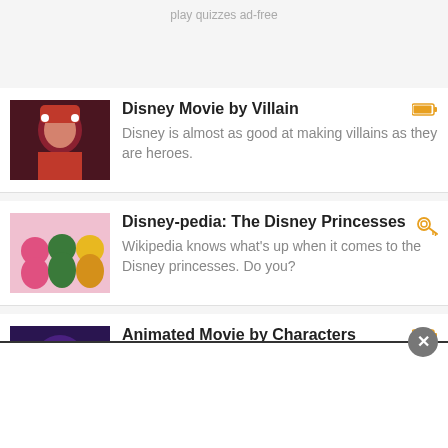play quizzes ad-free
Disney Movie by Villain — Disney is almost as good at making villains as they are heroes.
Disney-pedia: The Disney Princesses — Wikipedia knows what's up when it comes to the Disney princesses. Do you?
Animated Movie by Characters — Here is hoping that you are drawn to this quiz.